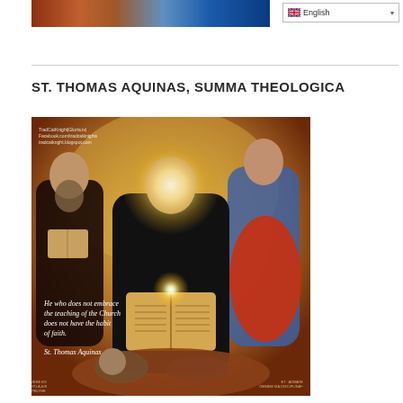[Header image: decorative banner with religious/cultural figures]
ST. THOMAS AQUINAS, SUMMA THEOLOGICA
[Figure (illustration): Religious painting/icon of St. Thomas Aquinas seated in center in black Dominican robes, holding an open book with a radiant light, flanked by two other religious figures. A quote overlay reads: 'He who does not embrace the teaching of the Church does not have the habit of faith. St. Thomas Aquinas'. Watermark text: TradCatKnight|Gloria.tv, Facebook.com/tradcatknights, tradcatknght.blogspot.com]